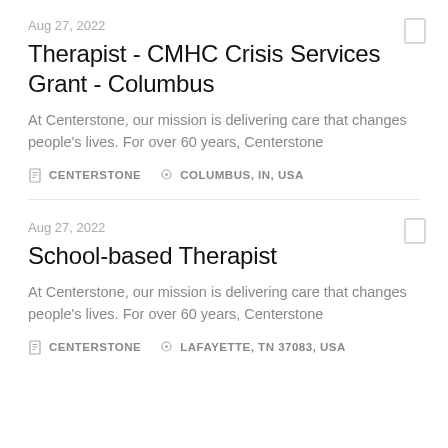Aug 27, 2022
Therapist - CMHC Crisis Services Grant - Columbus
At Centerstone, our mission is delivering care that changes people's lives. For over 60 years, Centerstone
CENTERSTONE   COLUMBUS, IN, USA
Aug 27, 2022
School-based Therapist
At Centerstone, our mission is delivering care that changes people's lives. For over 60 years, Centerstone
CENTERSTONE   LAFAYETTE, TN 37083, USA